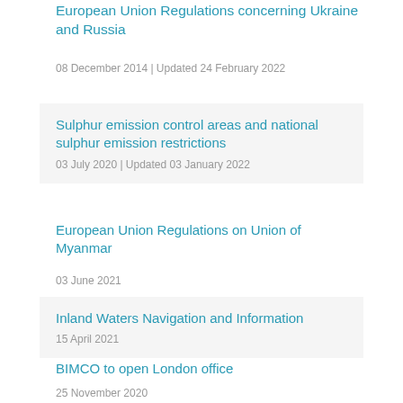European Union Regulations concerning Ukraine and Russia
08 December 2014 | Updated 24 February 2022
Sulphur emission control areas and national sulphur emission restrictions
03 July 2020 | Updated 03 January 2022
European Union Regulations on Union of Myanmar
03 June 2021
Inland Waters Navigation and Information
15 April 2021
BIMCO to open London office
25 November 2020